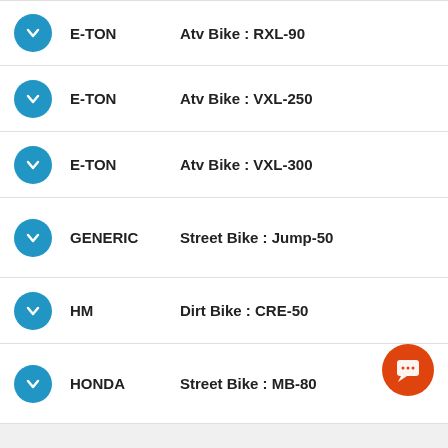E-TON — Atv Bike : RXL-90
E-TON — Atv Bike : VXL-250
E-TON — Atv Bike : VXL-300
GENERIC — Street Bike : Jump-50
HM — Dirt Bike : CRE-50
HONDA — Street Bike : MB-80